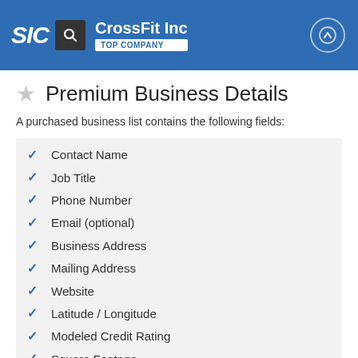SIC | CrossFit Inc | TOP COMPANY
Premium Business Details
A purchased business list contains the following fields:
Contact Name
Job Title
Phone Number
Email (optional)
Business Address
Mailing Address
Website
Latitude / Longitude
Modeled Credit Rating
Square Footage